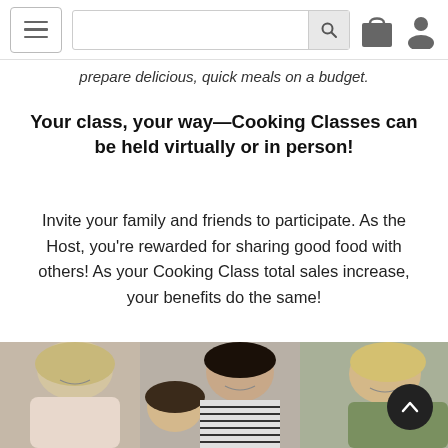[Navigation bar with hamburger menu, search box, bag icon, and user icon]
prepare delicious, quick meals on a budget.
Your class, your way—Cooking Classes can be held virtually or in person!
Invite your family and friends to participate. As the Host, you're rewarded for sharing good food with others! As your Cooking Class total sales increase, your benefits do the same!
[Figure (photo): Four women gathered around a table, appearing to cook or bake together in a bright kitchen setting. Three adult women and one younger girl are smiling and engaged with something on the table.]